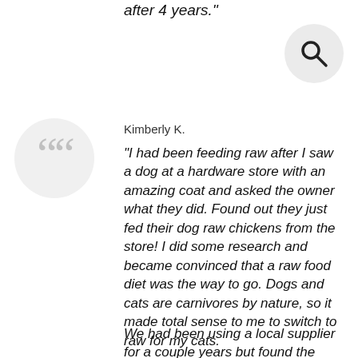after 4 years."
[Figure (illustration): Search magnifying glass icon inside a light gray circle]
[Figure (illustration): Large open double quotation mark in gray inside a light gray circle]
Kimberly K.
"I had been feeding raw after I saw a dog at a hardware store with an amazing coat and asked the owner what they did. Found out they just fed their dog raw chickens from the store! I did some research and became convinced that a raw food diet was the way to go. Dogs and cats are carnivores by nature, so it made total sense to me to switch to raw for my cats.
We had been using a local supplier for a couple years but found the